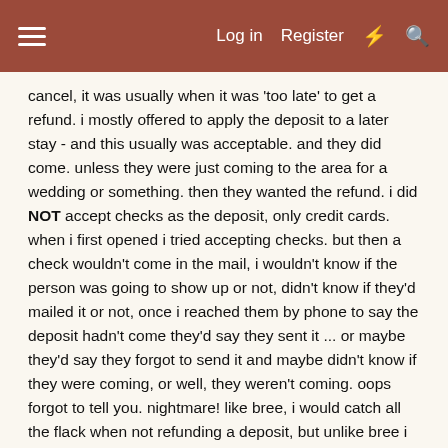Log in  Register
cancel, it was usually when it was 'too late' to get a refund. i mostly offered to apply the deposit to a later stay - and this usually was acceptable. and they did come. unless they were just coming to the area for a wedding or something. then they wanted the refund. i did NOT accept checks as the deposit, only credit cards. when i first opened i tried accepting checks. but then a check wouldn't come in the mail, i wouldn't know if the person was going to show up or not, didn't know if they'd mailed it or not, once i reached them by phone to say the deposit hadn't come they'd say they sent it ... or maybe they'd say they forgot to send it and maybe didn't know if they were coming, or well, they weren't coming. oops forgot to tell you. nightmare! like bree, i would catch all the flack when not refunding a deposit, but unlike bree i would say 'i will have to check with the owner' or 'with my business partner', in order to deflect the heat away from me ... i did have a